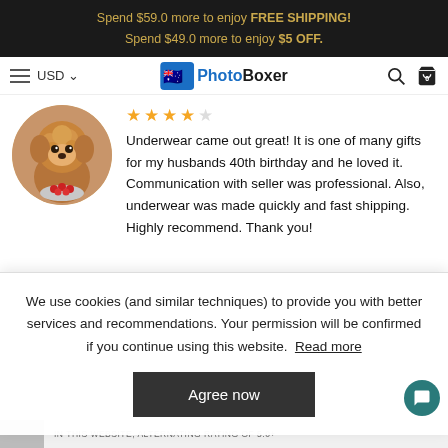Spend $59.0 more to enjoy FREE SHIPPING!
Spend $49.0 more to enjoy $5 OFF.
[Figure (screenshot): PhotoBoxer website navigation bar with hamburger menu, USD currency selector, PhotoBoxer logo with flag icon, search icon, and cart icon showing 0 items]
[Figure (photo): Circular avatar photo of a fluffy brown/golden poodle dog sitting with a bowl of red berries]
★★★★★ Underwear came out great! It is one of many gifts for my husbands 40th birthday and he loved it. Communication with seller was professional. Also, underwear was made quickly and fast shipping. Highly recommend. Thank you!
We use cookies (and similar techniques) to provide you with better services and recommendations. Your permission will be confirmed if you continue using this website. Read more
Agree now